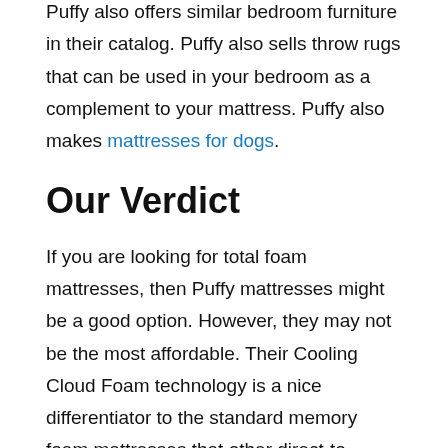Puffy also offers similar bedroom furniture in their catalog. Puffy also sells throw rugs that can be used in your bedroom as a complement to your mattress. Puffy also makes mattresses for dogs.
Our Verdict
If you are looking for total foam mattresses, then Puffy mattresses might be a good option. However, they may not be the most affordable. Their Cooling Cloud Foam technology is a nice differentiator to the standard memory foam mattresses that other direct-to-consumer mattresses. The Puffy entry price for one twin size mattress is reasonably accessible to most people looking to invest in a better mattress and is still a far cry from most luxury bed dealers.
But it's important to note that the price of Puffy does tend to increase once you start looking beyond entry-level beds. Puffy Lux mattresses are often more expensive than the market because